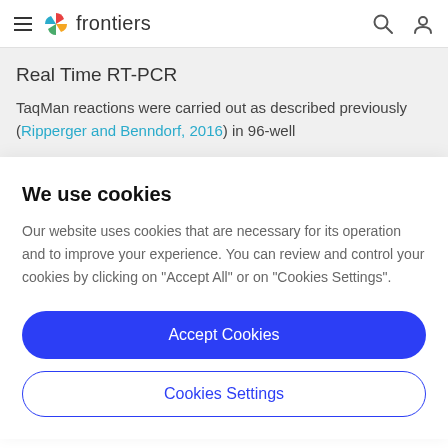frontiers
Real Time RT-PCR
TaqMan reactions were carried out as described previously (Ripperger and Benndorf, 2016) in 96-well
We use cookies
Our website uses cookies that are necessary for its operation and to improve your experience. You can review and control your cookies by clicking on "Accept All" or on "Cookies Settings".
Accept Cookies
Cookies Settings